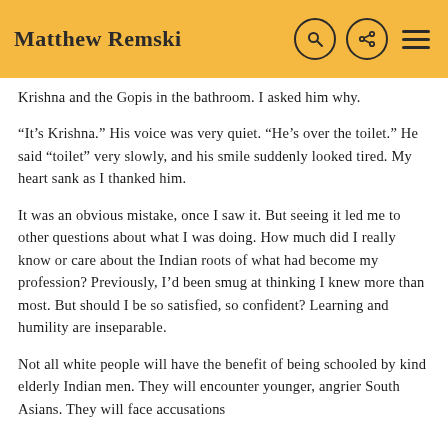Matthew Remski
Krishna and the Gopis in the bathroom. I asked him why.
“It's Krishna.” His voice was very quiet. “He’s over the toilet.” He said “toilet” very slowly, and his smile suddenly looked tired. My heart sank as I thanked him.
It was an obvious mistake, once I saw it. But seeing it led me to other questions about what I was doing. How much did I really know or care about the Indian roots of what had become my profession? Previously, I’d been smug at thinking I knew more than most. But should I be so satisfied, so confident? Learning and humility are inseparable.
Not all white people will have the benefit of being schooled by kind elderly Indian men. They will encounter younger, angrier South Asians. They will face accusations